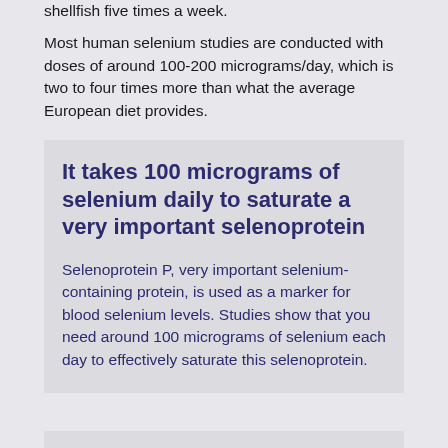shellfish five times a week.
Most human selenium studies are conducted with doses of around 100-200 micrograms/day, which is two to four times more than what the average European diet provides.
It takes 100 micrograms of selenium daily to saturate a very important selenoprotein
Selenoprotein P, very important selenium-containing protein, is used as a marker for blood selenium levels. Studies show that you need around 100 micrograms of selenium each day to effectively saturate this selenoprotein.
Overview of the immune defense
| Defense | Non-specific (innate) | Specific (adaptive) |
| --- | --- | --- |
| Functions as | Storm troops, messengers, and "garbage collectors" | Special troops that develop immunity. Develops after birth |